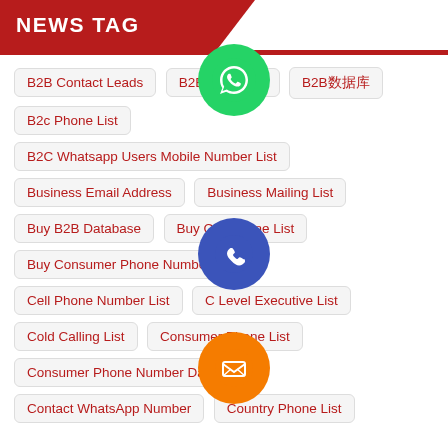NEWS TAG
B2B Contact Leads
B2B Email List
B2B数据库
B2c Phone List
B2C Whatsapp Users Mobile Number List
Business Email Address
Business Mailing List
Buy B2B Database
Buy Cell Phone List
Buy Consumer Phone Number List
Cell Phone Number List
C Level Executive List
Cold Calling List
Consumer Phone List
Consumer Phone Number Database
Contact WhatsApp Number
Country Phone List